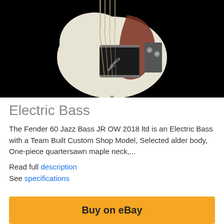[Figure (photo): Close-up photo of a white Fender Jazz Bass guitar body against a black background, showing the bridge cover with Fender logo, pickguard, and controls.]
Electric Bass
The Fender 60 Jazz Bass JR OW 2018 ltd is an Electric Bass with a Team Built Custom Shop Model, Selected alder body, One-piece quartersawn maple neck,...
Read full description
See specifications
Buy on eBay